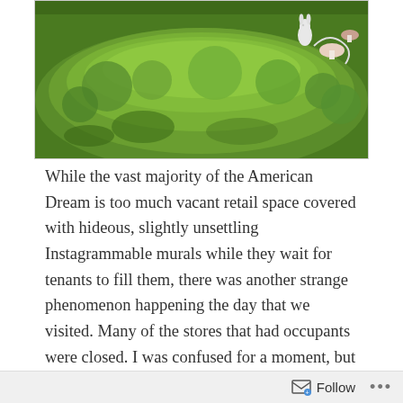[Figure (photo): Close-up photo of a moss-covered mound with small decorative figurines including a white rabbit and mushrooms on top]
While the vast majority of the American Dream is too much vacant retail space covered with hideous, slightly unsettling Instagrammable murals while they wait for tenants to fill them, there was another strange phenomenon happening the day that we visited. Many of the stores that had occupants were closed. I was confused for a moment, but then it dawned on me: it was Sunday and I had just discovered that this monument to excess was built in Bergen County, only adding to its cursed aura. Bergen County, New Jersey is a very special place where there are laws preventing
Follow ...